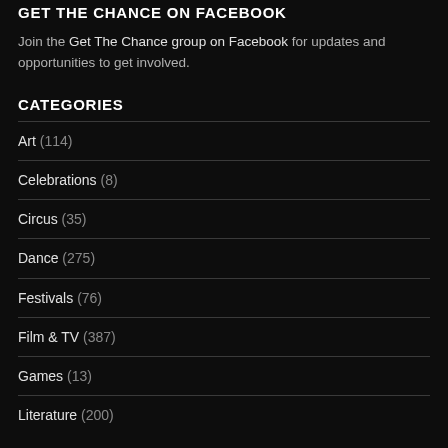GET THE CHANCE ON FACEBOOK
Join the Get The Chance group on Facebook for updates and opportunities to get involved.
CATEGORIES
Art (114)
Celebrations (8)
Circus (35)
Dance (275)
Festivals (76)
Film & TV (387)
Games (13)
Literature (200)